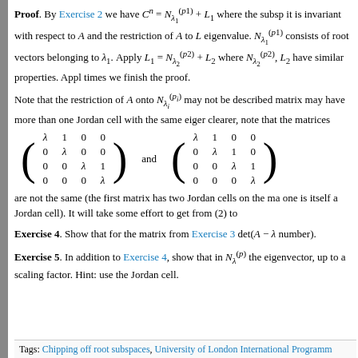Proof. By Exercise 2 we have C^n = N^(p1)_lambda1 + L1 where the subspace it is invariant with respect to A and the restriction of A to L1 has eigenvalue. N^(p1)_lambda1 consists of root vectors belonging to lambda1. Apply L1 = N^(p2)_lambda2 + L2 where N^(p2)_lambda2, L2 have similar properties. Applying times we finish the proof.
Note that the restriction of A onto N^(pi)_lambda_i may not be described matrix may have more than one Jordan cell with the same eigenvalue. To make it clearer, note that the matrices
[Figure (math-figure): Two 4x4 Jordan matrices with the same eigenvalue lambda. First matrix has Jordan blocks of size 2 and 2. Second matrix has a single Jordan block of size 3 and a 1x1 block.]
are not the same (the first matrix has two Jordan cells on the main diagonal, one is itself a Jordan cell). It will take some effort to get from (2) to
Exercise 4. Show that for the matrix from Exercise 3 det(A - lambda number).
Exercise 5. In addition to Exercise 4, show that in N^(p)_lambda the eigenvector, up to a scaling factor. Hint: use the Jordan cell.
Tags: Chipping off root subspaces, University of London International Programme